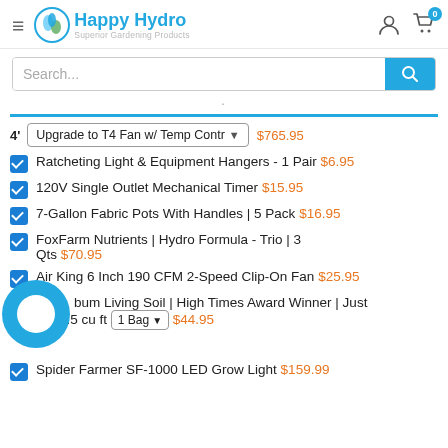Happy Hydro - Superior Gardening Products
Search...
4' | Upgrade to T4 Fan w/ Temp Contr ▾  $765.95
✓ Ratcheting Light & Equipment Hangers - 1 Pair  $6.95
✓ 120V Single Outlet Mechanical Timer  $15.95
✓ 7-Gallon Fabric Pots With Handles | 5 Pack  $16.95
✓ FoxFarm Nutrients | Hydro Formula - Trio | 3 Qts  $70.95
✓ Air King 6 Inch 190 CFM 2-Speed Clip-On Fan  $25.95
✓ Coburn Living Soil | High Times Award Winner | Just Water | 1.5 cu ft  [1 Bag ▾]  $44.95
✓ Spider Farmer SF-1000 LED Grow Light  $159.99